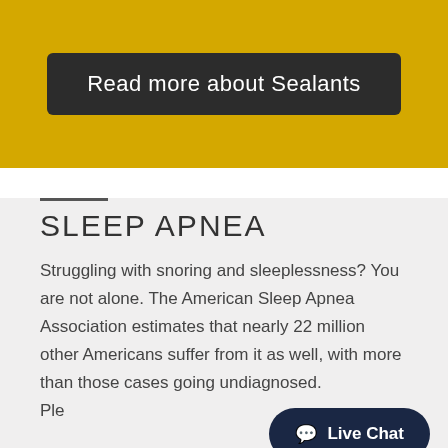Read more about Sealants
SLEEP APNEA
Struggling with snoring and sleeplessness? You are not alone. The American Sleep Apnea Association estimates that nearly 22 million other Americans suffer from it as well, with more than those cases going undiagnosed.